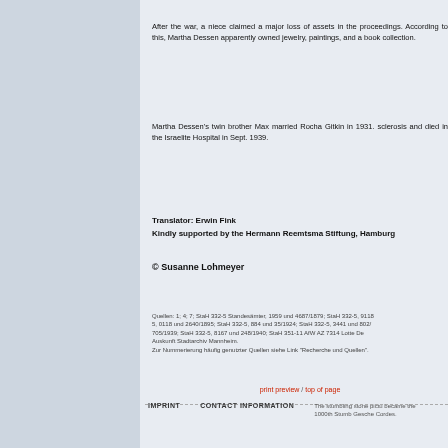After the war, a niece claimed a major loss of assets in the proceedings. According to this, Martha Dessen apparently owned jewelry, paintings, and a book collection.
Martha Dessen’s twin brother Max married Rocha Gitkin in 1931. sclerosis and died in the Israelite Hospital in Sept. 1939.
Translator: Erwin Fink
Kindly supported by the Hermann Reemtsma Stiftung, Hamburg
© Susanne Lohmeyer
Quellen: 1; 4; 7; StaH 332-5 Standesamter, 1959 und 4687/1879; StaH 332-5, 9118 5, 0118 und 2640/1895; StaH 332-5, 884 und 35/1924; StaH 332-5, 3441 und 802/ 705/1939; StaH 332-5, 8167 und 248/1940; StaH 351-11 AfW AZ 7314 Lotte De Auskunft Stadtarchiv Mannheim.
Zur Nummerierung haufig genutzter Quellen siehe Link "Recherche und Quellen".
print preview  / top of page
IMPRINT   CONTACT INFORMATION   The stumbling stone pictu became the 1000th Stumb Gesche Cordes.